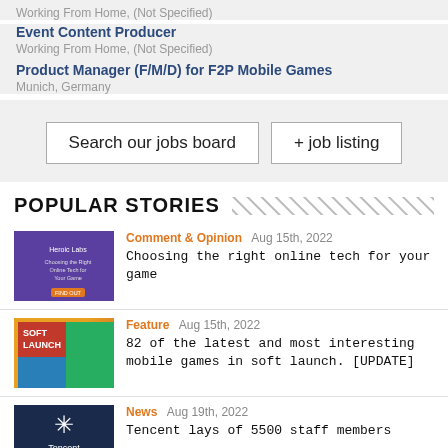Working From Home, (Not Specified)
Event Content Producer
Working From Home, (Not Specified)
Product Manager (F/M/D) for F2P Mobile Games
Munich, Germany
Search our jobs board
+ job listing
POPULAR STORIES
Comment & Opinion  Aug 15th, 2022
Choosing the right online tech for your game
Feature  Aug 15th, 2022
82 of the latest and most interesting mobile games in soft launch. [UPDATE]
News  Aug 19th, 2022
Tencent lays of 5500 staff members
Interview  Aug 12th, 2022
Feedback and creating content tailored to both PC